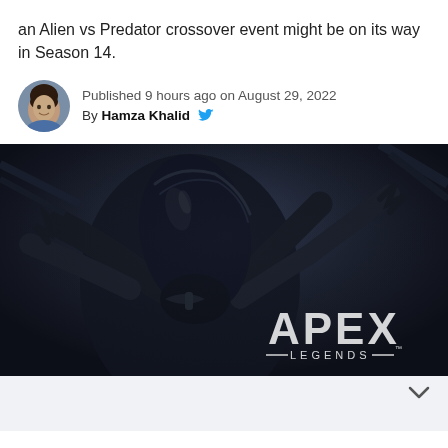an Alien vs Predator crossover event might be on its way in Season 14.
Published 9 hours ago on August 29, 2022
By Hamza Khalid
[Figure (photo): Dark cinematic image of an Alien creature from Alien vs Predator, reaching toward camera, with Apex Legends logo in lower right corner]
[Figure (other): Bottom gray area with chevron/arrow icon on the right]